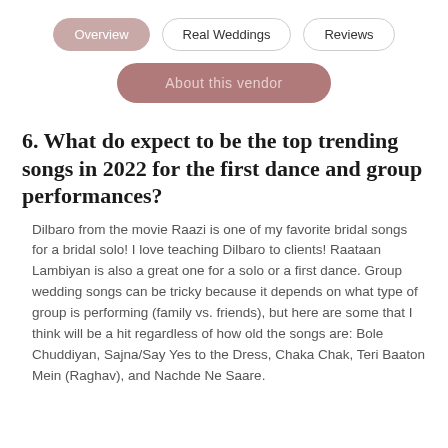Overview | Real Weddings | Reviews
[Figure (other): A pink/rose colored call-to-action button with blurred/obscured text]
6. What do expect to be the top trending songs in 2022 for the first dance and group performances?
Dilbaro from the movie Raazi is one of my favorite bridal songs for a bridal solo! I love teaching Dilbaro to clients! Raataan Lambiyan is also a great one for a solo or a first dance. Group wedding songs can be tricky because it depends on what type of group is performing (family vs. friends), but here are some that I think will be a hit regardless of how old the songs are: Bole Chuddiyan, Sajna/Say Yes to the Dress, Chaka Chak, Teri Baaton Mein (Raghav), and Nachde Ne Saare.